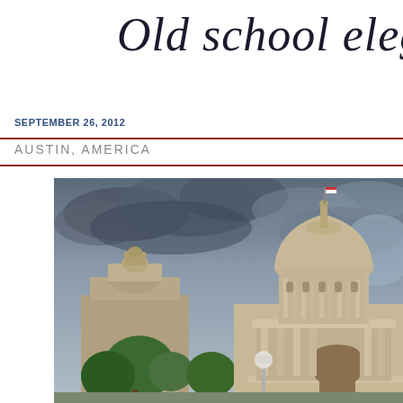Old school elegan...
SEPTEMBER 26, 2012
AUSTIN, AMERICA
[Figure (photo): Photograph of the Texas State Capitol building in Austin with a dramatic cloudy sky, green trees in the foreground, and a street lamp visible.]